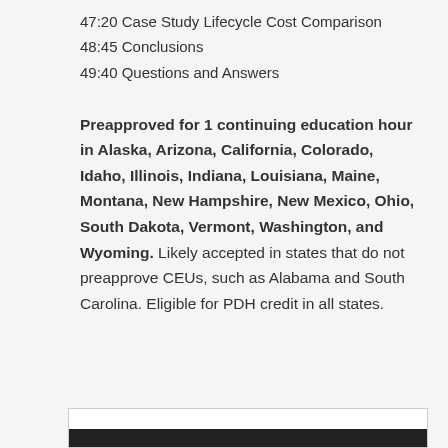47:20 Case Study Lifecycle Cost Comparison
48:45 Conclusions
49:40 Questions and Answers
Preapproved for 1 continuing education hour in Alaska, Arizona, California, Colorado, Idaho, Illinois, Indiana, Louisiana, Maine, Montana, New Hampshire, New Mexico, Ohio, South Dakota, Vermont, Washington, and Wyoming. Likely accepted in states that do not preapprove CEUs, such as Alabama and South Carolina. Eligible for PDH credit in all states.
[Figure (other): Partial bottom border box with dark bar visible at bottom of page]